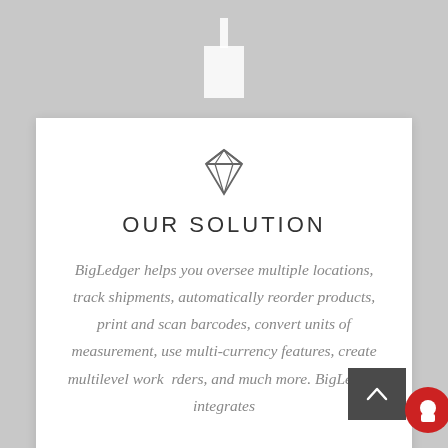[Figure (illustration): Diamond gemstone icon in grey outline style, centered above section title]
OUR SOLUTION
BigLedger helps you oversee multiple locations, track shipments, automatically reorder products, print and scan barcodes, convert units of measurement, use multi-currency features, create multilevel workorders, and much more. BigLedger integrates